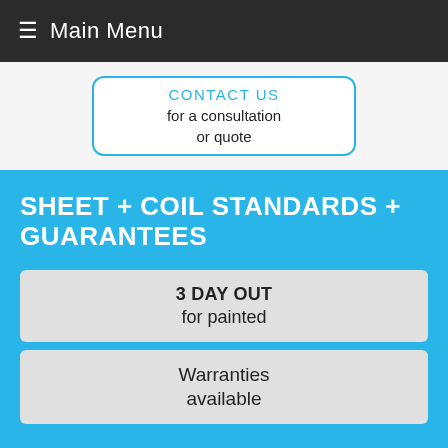≡ Main Menu
CONTACT US
for a consultation
or quote
SHEET + COIL STANDARDS + GUARANTEES
3 DAY OUT
for painted
Warranties
available